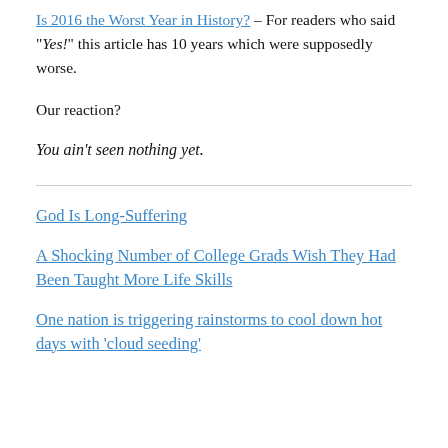Is 2016 the Worst Year in History? – For readers who said “Yes!” this article has 10 years which were supposedly worse.
Our reaction?
You ain’t seen nothing yet.
God Is Long-Suffering
A Shocking Number of College Grads Wish They Had Been Taught More Life Skills
One nation is triggering rainstorms to cool down hot days with ‘cloud seeding’